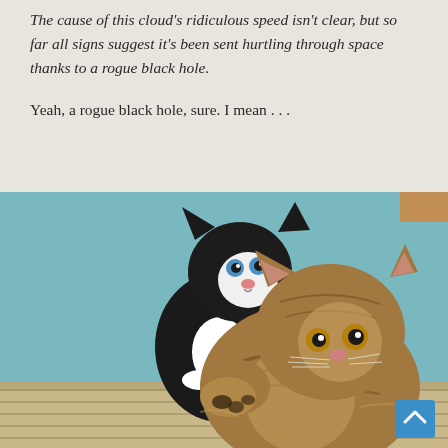The cause of this cloud's ridiculous speed isn't clear, but so far all signs suggest it's been sent hurtling through space thanks to a rogue black hole.
Yeah, a rogue black hole, sure. I mean . . .
[Figure (photo): Two kittens playing — a black and white kitten in the background and a fluffy tabby/brown kitten in the foreground with one paw raised, set against a teal/blue background.]